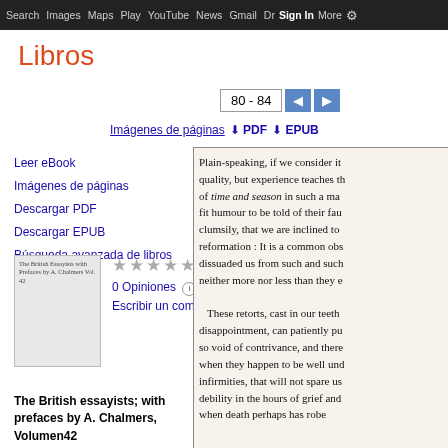Search  Images  Maps  Play  YouTube  News  Gmail  Drive  More  Sign in
Libros
80 - 84
Imágenes de páginas   PDF   EPUB
Leer eBook
Imágenes de páginas
Descargar PDF
Descargar EPUB
Búsqueda avanzada de libros
Ayuda
Mi biblioteca
0 Opiniones   Escribir un comentario
The British essayists; with prefaces by A. Chalmers, Volumen42
[Figure (screenshot): Book page showing text: Plain-speaking, if we consider it quality, but experience teaches th of time and season in such a ma fit humour to be told of their fau clumsily, that we are inclined to reformation : It is a common obs dissuaded us from such and such neither more nor less than they e. These retorts, cast in our teeth disappointment, can patiently pu so void of contrivance, and there when they happen to be well und infirmities, that will not spare us debility in the hours of grief and when death perhaps has robe]